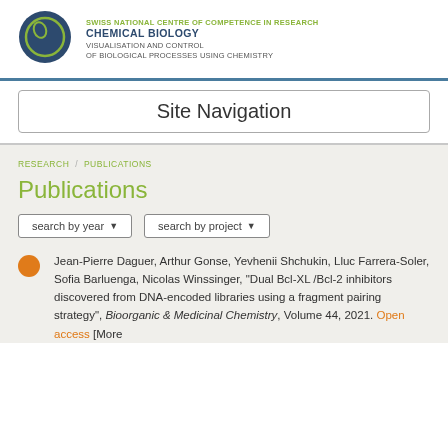[Figure (logo): Swiss National Centre of Competence in Research Chemical Biology logo — dark teal circle with yellow-green ring]
SWISS NATIONAL CENTRE OF COMPETENCE IN RESEARCH CHEMICAL BIOLOGY VISUALISATION AND CONTROL OF BIOLOGICAL PROCESSES USING CHEMISTRY
Site Navigation
RESEARCH / PUBLICATIONS
Publications
search by year ▾
search by project ▾
Jean-Pierre Daguer, Arthur Gonse, Yevhenii Shchukin, Lluc Farrera-Soler, Sofia Barluenga, Nicolas Winssinger, "Dual Bcl-XL /Bcl-2 inhibitors discovered from DNA-encoded libraries using a fragment pairing strategy", Bioorganic & Medicinal Chemistry, Volume 44, 2021. Open access [More